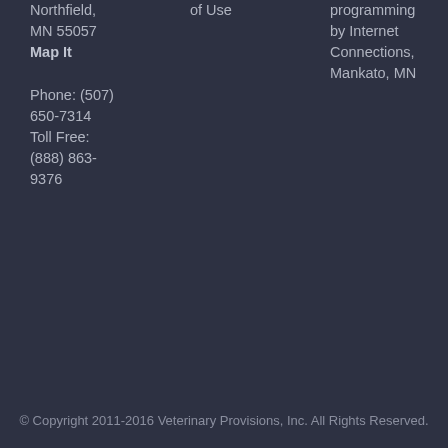Northfield, MN 55057
Map It
of Use
programming by Internet Connections, Mankato, MN
Phone: (507) 650-7314
Toll Free: (888) 863-9376
© Copyright 2011-2016 Veterinary Provisions, Inc. All Rights Reserved.